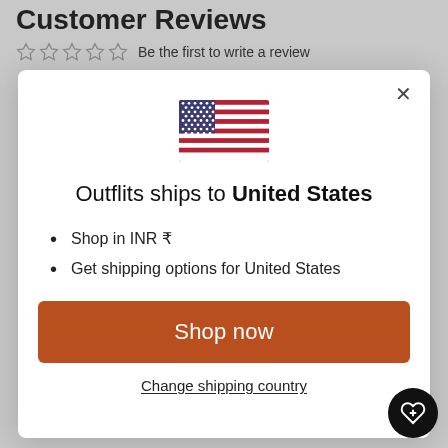Customer Reviews
☆☆☆☆☆  Be the first to write a review
[Figure (illustration): Modal dialog box with US flag, shipping info, and 'Shop now' button. Contains: US flag SVG, heading 'Outflits ships to United States', bullet points 'Shop in INR ₹' and 'Get shipping options for United States', orange 'Shop now' button, 'Change shipping country' link, and close (×) button.]
Outflits ships to United States
Shop in INR ₹
Get shipping options for United States
Shop now
Change shipping country